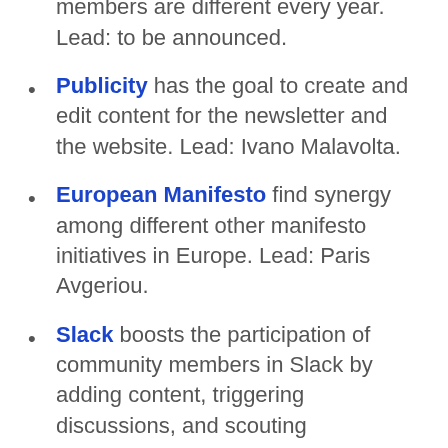yearly SEN symposium. Its members are different every year. Lead: to be announced.
Publicity has the goal to create and edit content for the newsletter and the website. Lead: Ivano Malavolta.
European Manifesto find synergy among different other manifesto initiatives in Europe. Lead: Paris Avgeriou.
Slack boosts the participation of community members in Slack by adding content, triggering discussions, and scouting